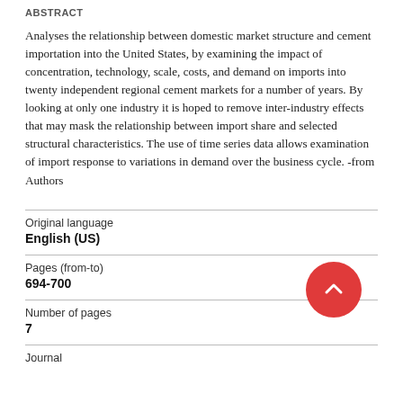Abstract
Analyses the relationship between domestic market structure and cement importation into the United States, by examining the impact of concentration, technology, scale, costs, and demand on imports into twenty independent regional cement markets for a number of years. By looking at only one industry it is hoped to remove inter-industry effects that may mask the relationship between import share and selected structural characteristics. The use of time series data allows examination of import response to variations in demand over the business cycle. -from Authors
| Original language |  |
| English (US) |  |
| Pages (from-to) |  |
| 694-700 |  |
| Number of pages |  |
| 7 |  |
| Journal |  |